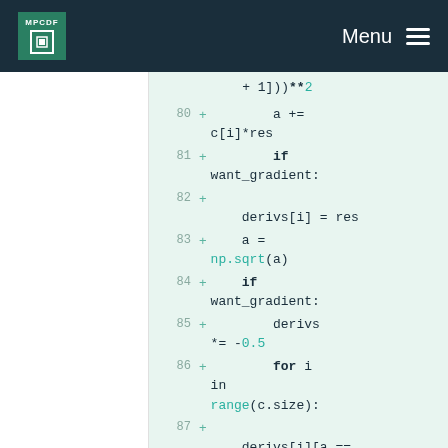MPCDF  Menu
[Figure (screenshot): Code diff view showing Python code lines 80-88 with green highlighted additions. Lines show array operations involving variables a, c, res, derivs, and numpy functions.]